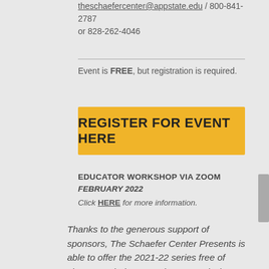theschaefercenter@appstate.edu / 800-841-2787 or 828-262-4046
Event is FREE, but registration is required.
REGISTER FOR EVENT HERE
EDUCATOR WORKSHOP VIA ZOOM
FEBRUARY 2022
Click HERE for more information.
Thanks to the generous support of sponsors, The Schaefer Center Presents is able to offer the 2021-22 series free of charge. To help us continue our mission